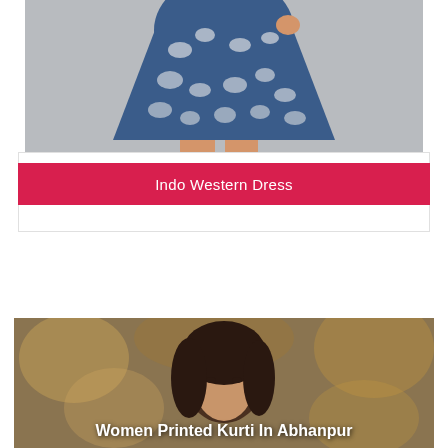[Figure (photo): Woman wearing a blue and white floral printed Indo Western dress, showing the lower half of the dress with flared skirt, photographed against a grey background]
Indo Western Dress
[Figure (photo): Woman with dark hair photographed with a blurred autumnal background, used as product category banner for Women Printed Kurti In Abhanpur]
Women Printed Kurti In Abhanpur